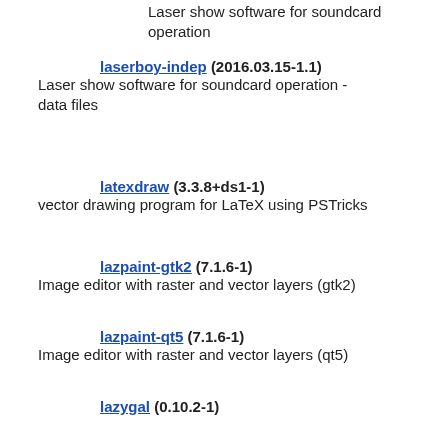Laser show software for soundcard operation
laserboy-indep (2016.03.15-1.1)
Laser show software for soundcard operation - data files
latexdraw (3.3.8+ds1-1)
vector drawing program for LaTeX using PSTricks
lazpaint-gtk2 (7.1.6-1)
Image editor with raster and vector layers (gtk2)
lazpaint-qt5 (7.1.6-1)
Image editor with raster and vector layers (qt5)
lazygal (0.10.2-1)
static web gallery generator
lebiniou (3.54.1-1)